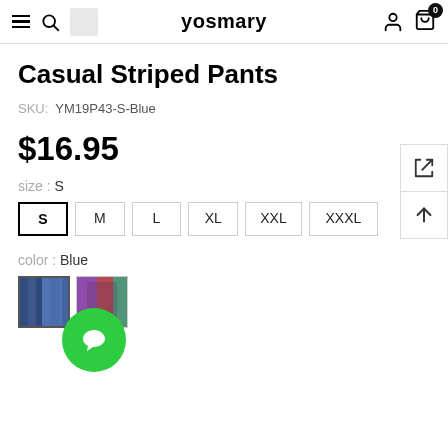yosmary
Casual Striped Pants
SKU: YM19P43-S-Blue
$16.95
size : S
S  M  L  XL  XXL  XXXL
color : Blue
[Figure (photo): Two small product color swatch photos showing striped pants in Blue and multicolor variants]